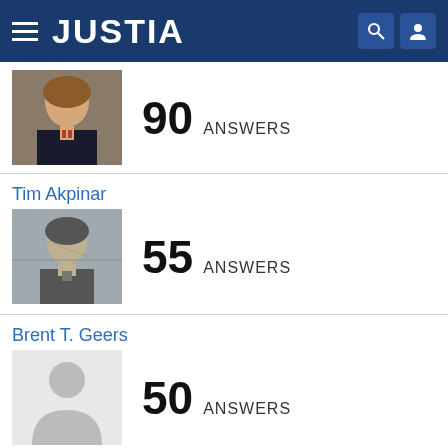JUSTIA
90 ANSWERS
Tim Akpinar
55 ANSWERS
Brent T. Geers
50 ANSWERS
Anthony M. Avery
49 ANSWERS